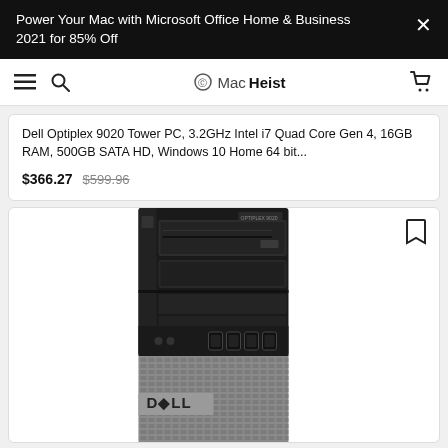Power Your Mac with Microsoft Office Home & Business 2021 for 85% Off
MacHeist navigation bar
Dell Optiplex 9020 Tower PC, 3.2GHz Intel i7 Quad Core Gen 4, 16GB RAM, 500GB SATA HD, Windows 10 Home 64 bit...
$366.27  $599.96
[Figure (photo): Dell Optiplex 9020 Tower PC product photo showing front panel with optical drive, USB ports, and Dell logo on lower silver section]